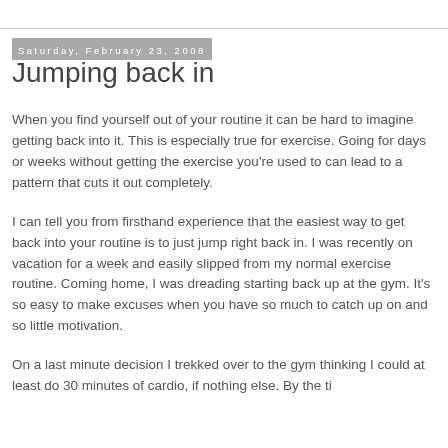Saturday, February 23, 2008
Jumping back in
When you find yourself out of your routine it can be hard to imagine getting back into it. This is especially true for exercise. Going for days or weeks without getting the exercise you're used to can lead to a pattern that cuts it out completely.
I can tell you from firsthand experience that the easiest way to get back into your routine is to just jump right back in. I was recently on vacation for a week and easily slipped from my normal exercise routine. Coming home, I was dreading starting back up at the gym. It's so easy to make excuses when you have so much to catch up on and so little motivation.
On a last minute decision I trekked over to the gym thinking I could at least do 30 minutes of cardio, if nothing else. By the time I got started I decided that since I had a chance, I'd do the...